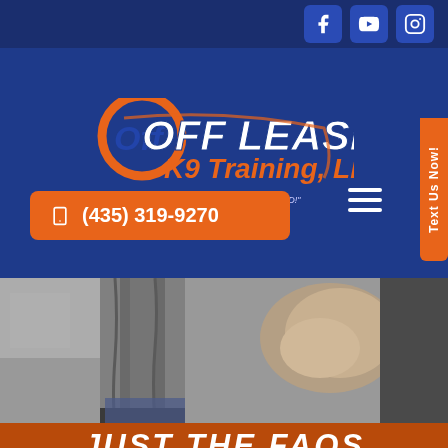[Figure (screenshot): Top navigation bar with dark blue background showing three social media icons: Facebook, YouTube, Instagram]
[Figure (logo): Off Leash K9 Training, LLC logo with orange and white text on dark blue background, with tagline 'Let us help your K9 be UNLEASHED!']
(435) 319-9270
[Figure (photo): Black and white photo of a person's legs/lower body with a dog training glove or sleeve]
JUST THE FAQS